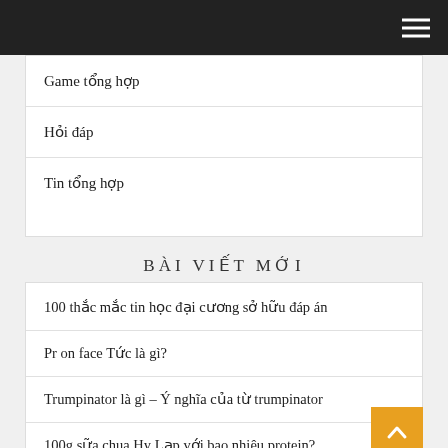Game tổng hợp
Hỏi đáp
Tin tổng hợp
BÀI VIẾT MỚI
100 thắc mắc tin học đại cương sở hữu đáp án
Pr on face Tức là gì?
Trumpinator là gì – Ý nghĩa của từ trumpinator
100g sữa chua Hy Lạp với bao nhiêu protein?